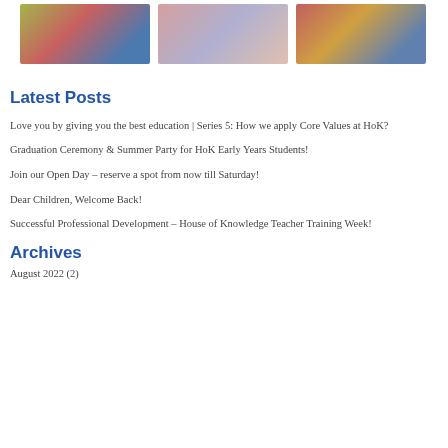[Figure (photo): Three photos of children at school events: children in colorful classroom, group of children with teacher, decorative stuffed animals/toys]
Latest Posts
Love you by giving you the best education | Series 5: How we apply Core Values at HoK?
Graduation Ceremony & Summer Party for HoK Early Years Students!
Join our Open Day – reserve a spot from now till Saturday!
Dear Children, Welcome Back!
Successful Professional Development – House of Knowledge Teacher Training Week!
Archives
August 2022 (2)